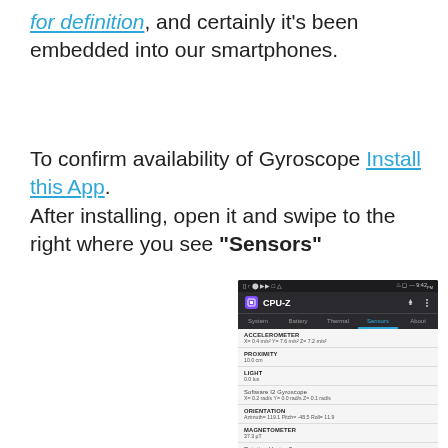for definition, and certainly it's been embedded into our smartphones.
To confirm availability of Gyroscope Install this App. After installing, open it and swipe to the right where you see "Sensors"
[Figure (screenshot): Screenshot of CPU-Z Android app showing the Sensors tab with readings for ACCELEROMETER, PROXIMITY, LIGHT, Software I2 Gyroscope, ORIENTATION, MAGNETOMETER, Rotation Vector Sensor, and Gravity Sensor.]